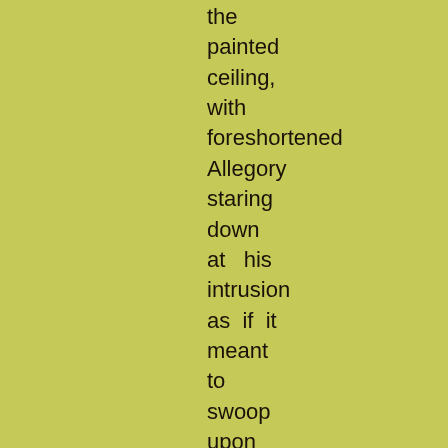the
painted
ceiling,
with
foreshortened
Allegory
staring
down
at   his
intrusion
as  if  it
meant
to
swoop
upon
him,
and
he
cutting